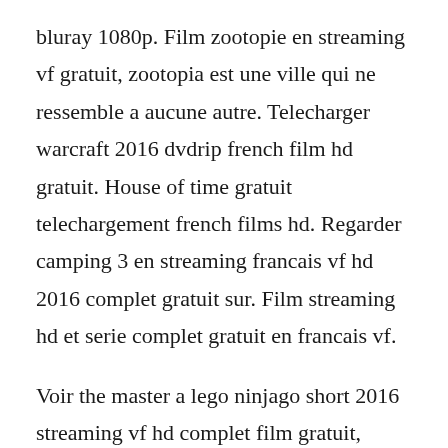bluray 1080p. Film zootopie en streaming vf gratuit, zootopia est une ville qui ne ressemble a aucune autre. Telecharger warcraft 2016 dvdrip french film hd gratuit. House of time gratuit telechargement french films hd. Regarder camping 3 en streaming francais vf hd 2016 complet gratuit sur. Film streaming hd et serie complet gratuit en francais vf.
Voir the master a lego ninjago short 2016 streaming vf hd complet film gratuit, gratuit 720p the master a lego ninjago short 2016 streaming vf 2016 film complet vostfr the